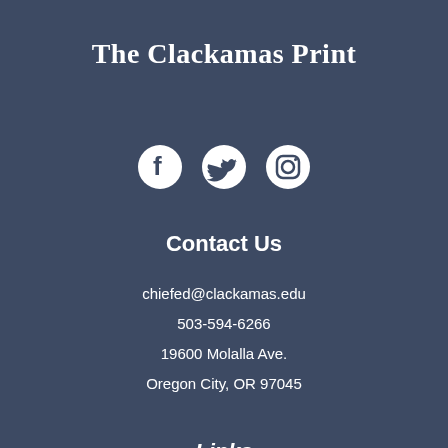The Clackamas Print
[Figure (illustration): Three social media icons: Facebook, Twitter, Instagram in white on dark blue background]
Contact Us
chiefed@clackamas.edu
503-594-6266
19600 Molalla Ave.
Oregon City, OR 97045
Links
About